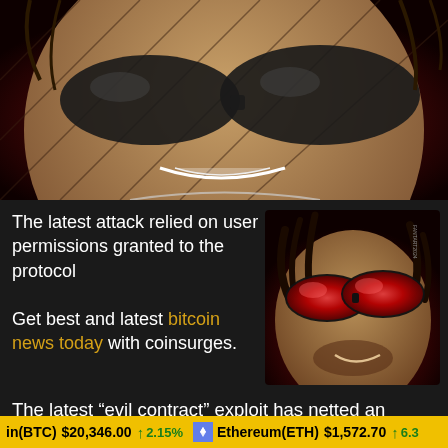[Figure (illustration): Comic-book style illustration of a menacing figure wearing dark sunglasses, close-up face shot, red background, dark tones]
The latest attack relied on user permissions granted to the protocol
[Figure (illustration): Comic-book style illustration of a figure with glowing red sunglasses, close-up face, dark tones]
Get best and latest bitcoin news today with coinsurges.
The latest “evil contract” exploit has netted an
in(BTC) $20,346.00 ↑ 2.15% Ethereum(ETH) $1,572.70 ↑ 6.3